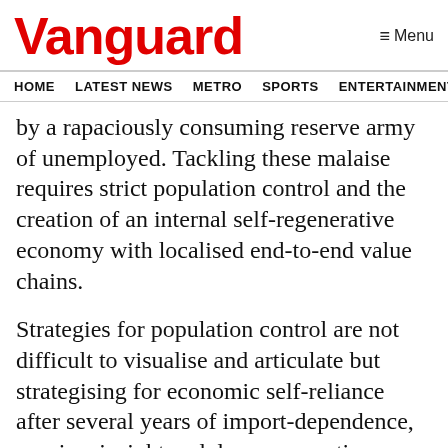Vanguard
HOME  LATEST NEWS  METRO  SPORTS  ENTERTAINMENT  VIDEOS
by a rapaciously consuming reserve army of unemployed. Tackling these malaise requires strict population control and the creation of an internal self-regenerative economy with localised end-to-end value chains.
Strategies for population control are not difficult to visualise and articulate but strategising for economic self-reliance after several years of import-dependence, requires insight and deep perspective. First, as the resource requirement to effect this economic transformation goes beyond